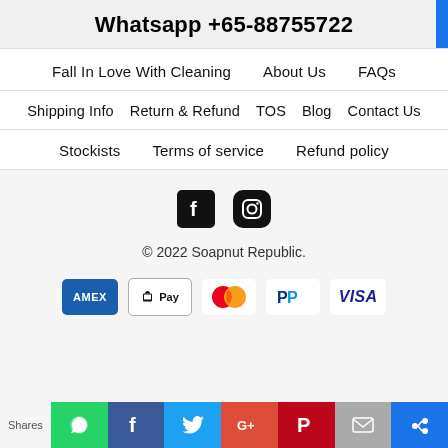Whatsapp +65-88755722
Fall In Love With Cleaning
About Us
FAQs
Shipping Info
Return & Refund
TOS
Blog
Contact Us
Stockists
Terms of service
Refund policy
[Figure (illustration): Facebook and Instagram social media icons]
© 2022 Soapnut Republic.
[Figure (infographic): Payment method badges: AMEX, Apple Pay, Mastercard, PayPal, VISA]
Shares — WhatsApp, Facebook, Twitter, Google+, Pinterest, Email, and one more share button